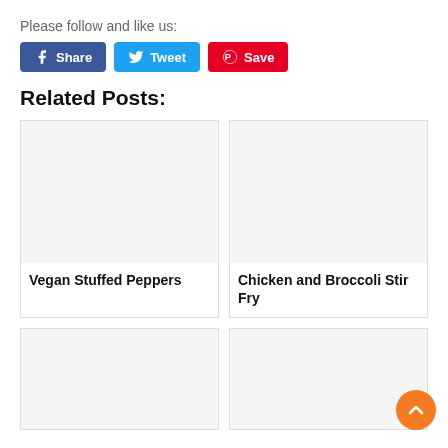Please follow and like us:
[Figure (infographic): Social share buttons: Facebook Share (blue), Twitter Tweet (light blue), Pinterest Save (red)]
Related Posts:
[Figure (other): Empty card image placeholder for Vegan Stuffed Peppers]
Vegan Stuffed Peppers
[Figure (other): Empty card image placeholder for Chicken and Broccoli Stir Fry]
Chicken and Broccoli Stir Fry
[Figure (other): Empty card image placeholder (bottom left)]
[Figure (other): Empty card image placeholder (bottom right)]